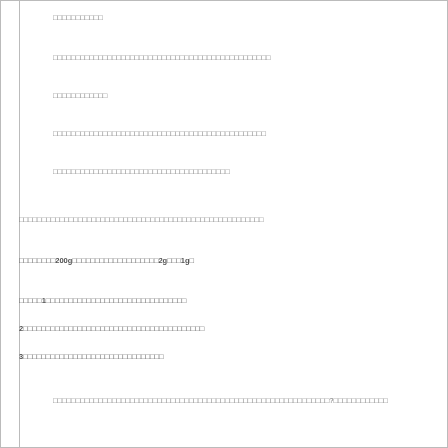□□□□□□□□□□□
□□□□□□□□□□□□□□□□□□□□□□□□□□□□□□□□□□□□□□□□□□□□□□□□
□□□□□□□□□□□□
□□□□□□□□□□□□□□□□□□□□□□□□□□□□□□□□□□□□□□□□□□□□□□□
□□□□□□□□□□□□□□□□□□□□□□□□□□□□□□□□□□□□□□□
□□□□□□□□□□□□□□□□□□□□□□□□□□□□□□□□□□□□□□□□□□□□□□□□□□□□□□
□□□□□□□□200g□□□□□□□□□□□□□□□□□□□2g□□□1g□
□□□□□1□□□□□□□□□□□□□□□□□□□□□□□□□□□
2□□□□□□□□□□□□□□□□□□□□□□□□□□□□□□□□□□□□□□□□
3□□□□□□□□□□□□□□□□□□□□□□□□□□□□□□□
□□□□□□□□□□□□□□□□□□□□□□□□□□□□□□□□□□□□□□□□□□□□□□□□□□□□□□□□□□□□□?□□□□□□□□□□□□